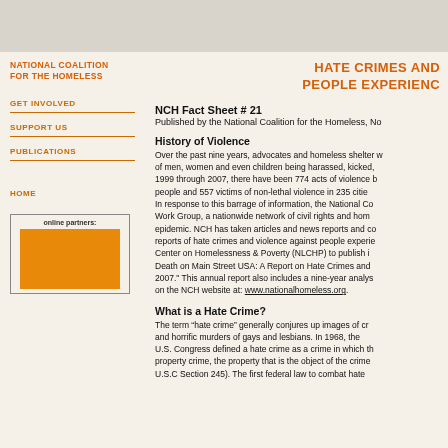NATIONAL COALITION FOR THE HOMELESS
HATE CRIMES AND PEOPLE EXPERIENCING
GET INVOLVED
SUPPORT US
PUBLICATIONS
HOME
NCH Fact Sheet # 21
Published by the National Coalition for the Homeless, No
History of Violence
Over the past nine years, advocates and homeless shelter workers have documented hundreds of cases of men, women and even children being harassed, kicked, and even murdered. Between 1999 through 2007, there have been 774 acts of violence by housed individuals against homeless people and 557 victims of non-lethal violence in 235 cities across the United States. In response to this barrage of information, the National Coalition for the Homeless formed its Hate Work Group, a nationwide network of civil rights and homeless advocates to combat this epidemic. NCH has taken articles and news reports and compiled them with staff-collected reports of hate crimes and violence against people experiencing homelessness and the National Law Center on Homelessness & Poverty (NLCHP) to publish its annual report entitled, "Hate, Violence, and Death on Main Street USA: A Report on Hate Crimes and Violence Against People Experiencing Homelessness, 2007." This annual report also includes a nine-year analysis. This report is available on the NCH website at: www.nationalhomeless.org.
What is a Hate Crime?
The term “hate crime” generally conjures up images of cross burnings, church bombings, and horrific murders of gays and lesbians. In 1968, the U.S. Congress defined a hate crime as a crime in which the defendant intentionally selects a victim, or in the case of a property crime, the property that is the object of the crime, because of the actual or perceived (U.S.C Section 245). The first federal law to combat hate
online partners: